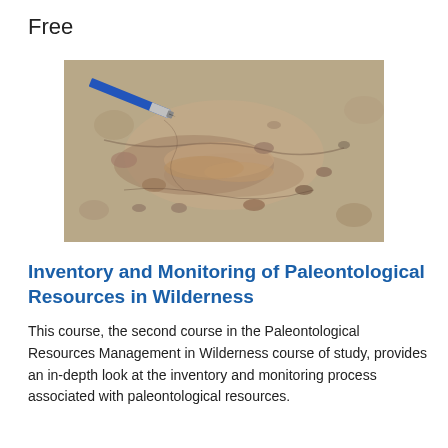Free
[Figure (photo): Close-up photograph of fossilized paleontological remains embedded in rock/sediment, with a blue pen shown for scale in the upper left corner.]
Inventory and Monitoring of Paleontological Resources in Wilderness
This course, the second course in the Paleontological Resources Management in Wilderness course of study, provides an in-depth look at the inventory and monitoring process associated with paleontological resources.